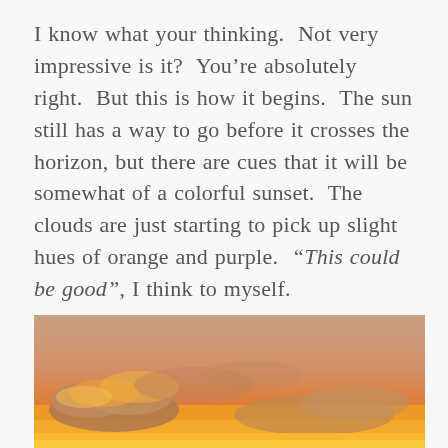I know what your thinking.  Not very impressive is it?  You're absolutely right.  But this is how it begins.  The sun still has a way to go before it crosses the horizon, but there are cues that it will be somewhat of a colorful sunset.  The clouds are just starting to pick up slight hues of orange and purple.  “This could be good”, I think to myself.
[Figure (photo): A sunset sky photograph showing orange and golden clouds against a warm sky, with clouds glowing in shades of orange, yellow, and purple near the horizon.]